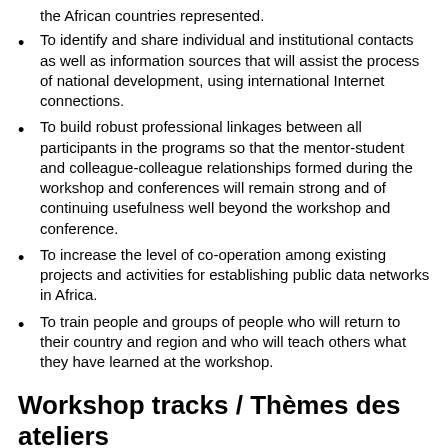the African countries represented.
To identify and share individual and institutional contacts as well as information sources that will assist the process of national development, using international Internet connections.
To build robust professional linkages between all participants in the programs so that the mentor-student and colleague-colleague relationships formed during the workshop and conferences will remain strong and of continuing usefulness well beyond the workshop and conference.
To increase the level of co-operation among existing projects and activities for establishing public data networks in Africa.
To train people and groups of people who will return to their country and region and who will teach others what they have learned at the workshop.
Workshop tracks / Thèmes des ateliers
An intensive program of instruction is planned for the workshop, composed of three instructional tracks in English, and one in French. Participants attend only one of the tracks